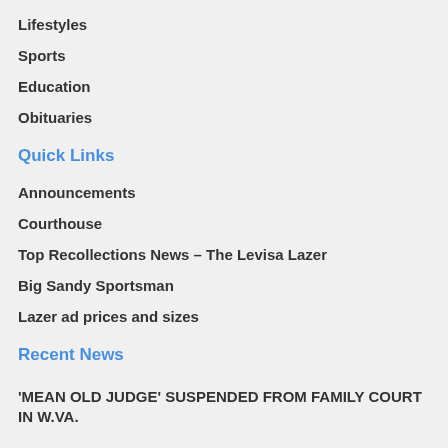Lifestyles
Sports
Education
Obituaries
Quick Links
Announcements
Courthouse
Top Recollections News – The Levisa Lazer
Big Sandy Sportsman
Lazer ad prices and sizes
Recent News
'MEAN OLD JUDGE' SUSPENDED FROM FAMILY COURT IN W.VA.